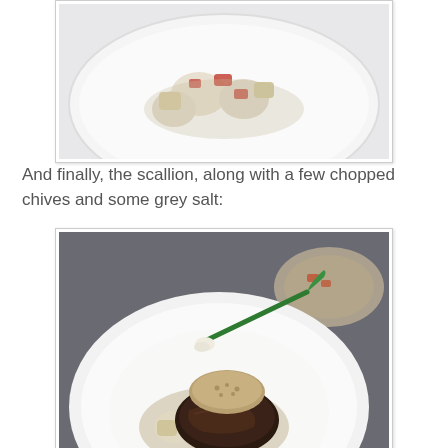[Figure (photo): Top portion of a food photo showing a white plate with scallops, diced red peppers, and potato pieces in a light broth]
And finally, the scallion, along with a few chopped chives and some grey salt:
[Figure (photo): A white plate with braised short rib topped with a breadcrumb crust and a whole scallion, surrounded by scallops, diced red peppers, and potato pieces in sauce]